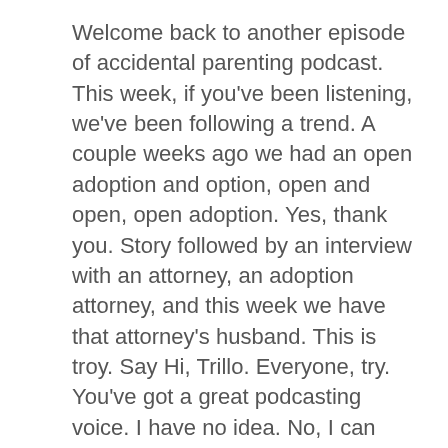Welcome back to another episode of accidental parenting podcast. This week, if you've been listening, we've been following a trend. A couple weeks ago we had an open adoption and option, open and open, open adoption. Yes, thank you. Story followed by an interview with an attorney, an adoption attorney, and this week we have that attorney's husband. This is troy. Say Hi, Trillo. Everyone, try. You've got a great podcasting voice. I have no idea. No, I can hear it right now and I'm telling you, you've got a great voice for this before the even look, you may bomb the interview, but your voice is Great. Well, hopefully other people enjoy the just listen to my voice. Yet maybe you can put him to sleep. There's probably no, no, no things they could do. It's funny. This is maybe a little bit information that we haven't shared with people in the past, but usually when we interview people for the PODCAST, we send out a list of interview questions. We want them to prep to think about some of the things that they're going to say, and I wouldn't call it scripted, but you know, they have an